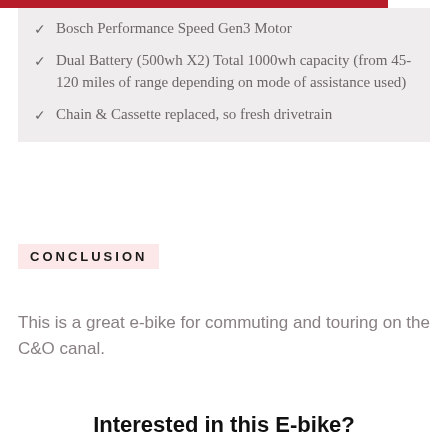Bosch Performance Speed Gen3 Motor
Dual Battery (500wh X2) Total 1000wh capacity (from 45-120 miles of range depending on mode of assistance used)
Chain & Cassette replaced, so fresh drivetrain
CONCLUSION
This is a great e-bike for commuting and touring on the C&O canal.
Interested in this E-bike?